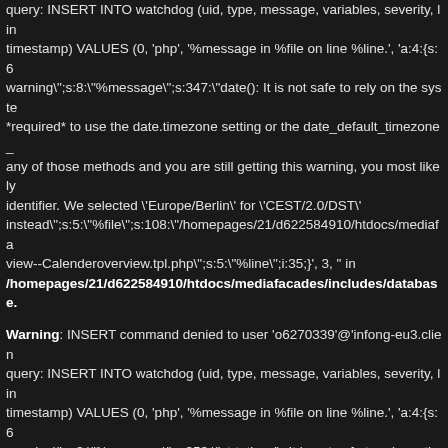query: INSERT INTO watchdog (uid, type, message, variables, severity, lin timestamp) VALUES (0, 'php', '%message in %file on line %line.', 'a:4:{s:6 warning";s:8:"%message";s:347:"date(): It is not safe to rely on the syste *required* to use the date.timezone setting or the date_default_timezone_ any of those methods and you are still getting this warning, you most likely identifier. We selected \'Europe/Berlin\' for \'CEST/2.0/DST\' instead";s:5:"%file";s:108:"/homepages/21/d622584910/htdocs/mediafa view--Calenderoverview.tpl.php";s:5:"%line";i:35;}', 3, " in /homepages/21/d622584910/htdocs/mediafacades/includes/database.
Warning: INSERT command denied to user 'o6270339'@'infong-eu3.clien query: INSERT INTO watchdog (uid, type, message, variables, severity, lin timestamp) VALUES (0, 'php', '%message in %file on line %line.', 'a:4:{s:6 warning";s:8:"%message";s:352:"strtotime(): It is not safe to rely on the are *required* to use the date.timezone setting or the date_default_timezo used any of those methods and you are still getting this warning, you most identifier. We selected \'Europe/Berlin\' for \'CEST/2.0/DST\' instead";s:5:"%file";s:108:"/homepages/21/d622584910/htdocs/mediafa view--Calenderoverview.tpl.php";s:5:"%line";i:35;}', 3, ' in /homepages/21/d622584910/htdocs/mediafacades/includes/database.
Warning: INSERT command denied to user 'o6270339'@'infong-eu3.clien query: INSERT INTO watchdog (uid, type, message, variables, severity, lin